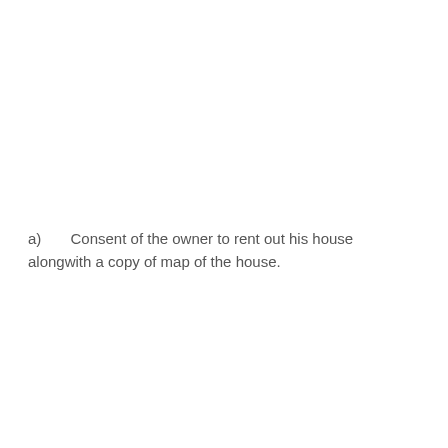a)       Consent of the owner to rent out his house alongwith a copy of map of the house.